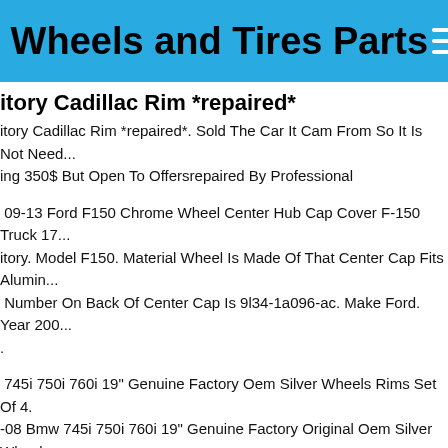Wheels and Tires Parts
Factory Cadillac Rim *repaired*
Factory Cadillac Rim *repaired*. Sold The Car It Cam From So It Is Not Needed. Asking 350$ But Open To Offersrepaired By Professional
09-13 Ford F150 Chrome Wheel Center Hub Cap Cover F-150 Truck 17. Factory. Model F150. Material Wheel Is Made Of That Center Cap Fits Aluminum. Number On Back Of Center Cap Is 9l34-1a096-ac. Make Ford. Year 200...
745i 750i 760i 19" Genuine Factory Oem Silver Wheels Rims Set Of 4. -08 Bmw 745i 750i 760i 19" Genuine Factory Original Oem Silver Wheels Set Of 4. Four Wheels Rims Genuine Factory Original Oem. Always Be Genuine Factory Oem. Item One Set Of Four. (2) 10jx19 H2 Et24 Rear.
Ford Escape Pvd Chrome Wheel Rim Factory Oem 2013 2014 2015 2016. 19" Ford Escape Pvd Chrome Wheel Rim Factory Oem 2013 2014 2015... 2070